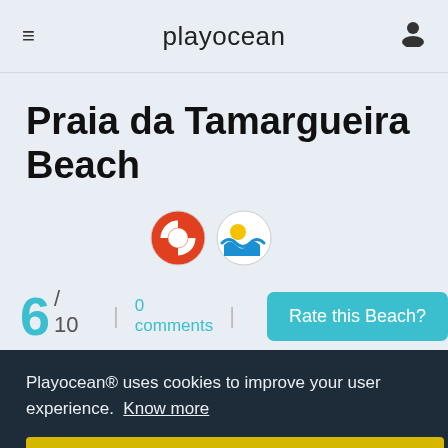playocean
Praia da Tamargueira Beach
[Figure (illustration): Two circular icons: a life preserver ring (red and white) and a beach/ocean logo (yellow sun, blue wave)]
6 / 10   |   0 comments   |   Rate this Beach?
[Figure (photo): Coastal city photo showing blue sky, sea, and urban waterfront buildings]
Playocean® uses cookies to improve your user experience. Know more
Ok!